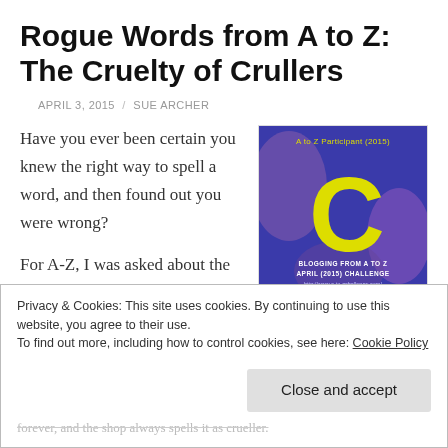Rogue Words from A to Z: The Cruelty of Crullers
APRIL 3, 2015 / SUE ARCHER
Have you ever been certain you knew the right way to spell a word, and then found out you were wrong?
[Figure (illustration): A to Z Participant (2015) badge showing a large yellow letter C on a blue/purple background with decorative elements. Text reads: BLOGGING FROM A TO Z APRIL (2015) CHALLENGE http://www.a-to-zchallenge.com/]
For A-Z, I was asked about the proper spelling of my favourite type of doughnut: cruller or crueller?
Privacy & Cookies: This site uses cookies. By continuing to use this website, you agree to their use.
To find out more, including how to control cookies, see here: Cookie Policy
Close and accept
forever, and the shop always spells it as crueller.